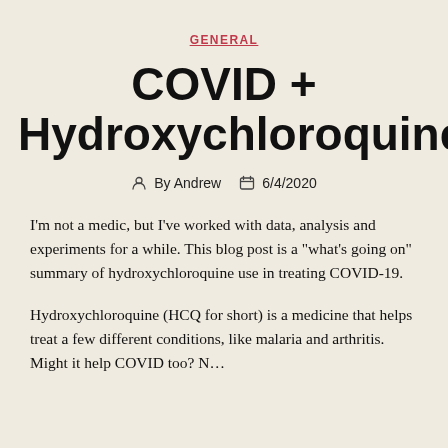GENERAL
COVID + Hydroxychloroquine
By Andrew   6/4/2020
I'm not a medic, but I've worked with data, analysis and experiments for a while. This blog post is a "what's going on" summary of hydroxychloroquine use in treating COVID-19.
Hydroxychloroquine (HCQ for short) is a medicine that helps treat a few different conditions, like malaria and arthritis. Might it help COVID too? N...